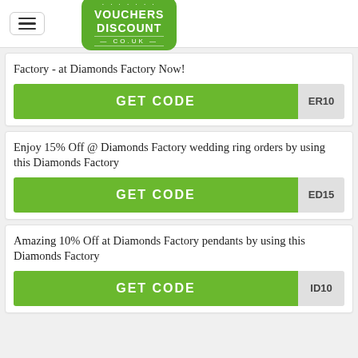[Figure (logo): Vouchers Discount co.uk logo in green rounded rectangle]
Factory - at Diamonds Factory Now!
GET CODE  ER10
Enjoy 15% Off @ Diamonds Factory wedding ring orders by using this Diamonds Factory
GET CODE  ED15
Amazing 10% Off at Diamonds Factory pendants by using this Diamonds Factory
GET CODE  ID10